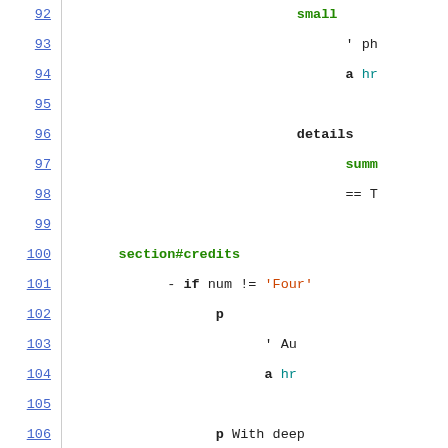[Figure (screenshot): Code editor screenshot showing lines 92-113 of a template/markup file with syntax highlighting. Line numbers on left in blue underlined. Code content on right with green keywords, orange strings, and black operators.]